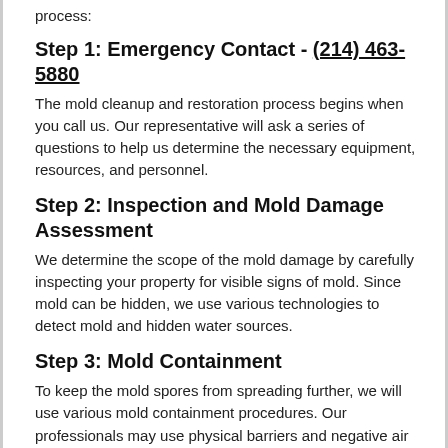process:
Step 1: Emergency Contact - (214) 463-5880
The mold cleanup and restoration process begins when you call us. Our representative will ask a series of questions to help us determine the necessary equipment, resources, and personnel.
Step 2: Inspection and Mold Damage Assessment
We determine the scope of the mold damage by carefully inspecting your property for visible signs of mold. Since mold can be hidden, we use various technologies to detect mold and hidden water sources.
Step 3: Mold Containment
To keep the mold spores from spreading further, we will use various mold containment procedures. Our professionals may use physical barriers and negative air pressure to isolate the contaminated area and to help prevent the mold spores from spreading through your Kessler, TX home or business. Also, we will turn off the property's fans and heating...